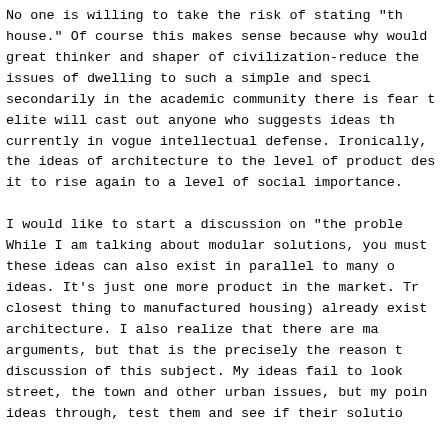No one is willing to take the risk of stating "th house." Of course this makes sense because why would great thinker and shaper of civilization-reduce the issues of dwelling to such a simple and speci secondarily in the academic community there is fear t elite will cast out anyone who suggests ideas th currently in vogue intellectual defense. Ironically, the ideas of architecture to the level of product des it to rise again to a level of social importance.

I would like to start a discussion on "the proble While I am talking about modular solutions, you must these ideas can also exist in parallel to many o ideas. It's just one more product in the market. Tr closest thing to manufactured housing) already exist architecture. I also realize that there are ma arguments, but that is the precisely the reason t discussion of this subject. My ideas fail to look street, the town and other urban issues, but my poin ideas through, test them and see if their solutio